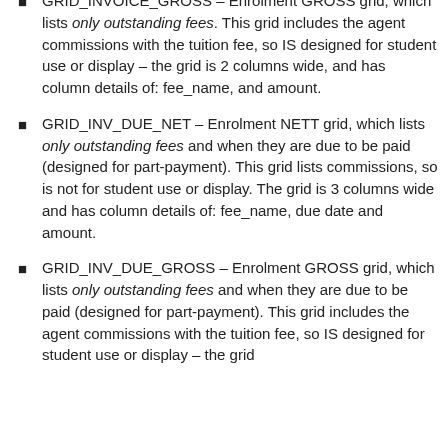GRID_INVOICE_GROSS – Enrolment GROSS grid, which lists only outstanding fees. This grid includes the agent commissions with the tuition fee, so IS designed for student use or display – the grid is 2 columns wide, and has column details of: fee_name, and amount.
GRID_INV_DUE_NET – Enrolment NETT grid, which lists only outstanding fees and when they are due to be paid (designed for part-payment). This grid lists commissions, so is not for student use or display. The grid is 3 columns wide and has column details of: fee_name, due date and amount.
GRID_INV_DUE_GROSS – Enrolment GROSS grid, which lists only outstanding fees and when they are due to be paid (designed for part-payment). This grid includes the agent commissions with the tuition fee, so IS designed for student use or display – the grid